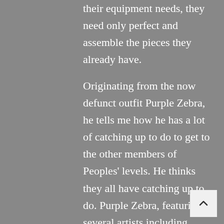their equipment needs, they need only perfect and assemble the pieces they already have.
Originating from the now defunct outfit Purple Zebra, he tells me how he has a lot of catching up to do to get to the other members of Peoples' levels. He thinks they all have catching up to do. Purple Zebra, featuring several artists including Peoples' own SWIM, was only a fledgling act but enjoyed some success with live shows alongside the likes of Bev LDN at London venue 229. At times overly critical, it is however positive rather than pessimistic to see such an analytical approach to the art. Remi reflects on a show he opened for recently. 'It went well… but with what I've